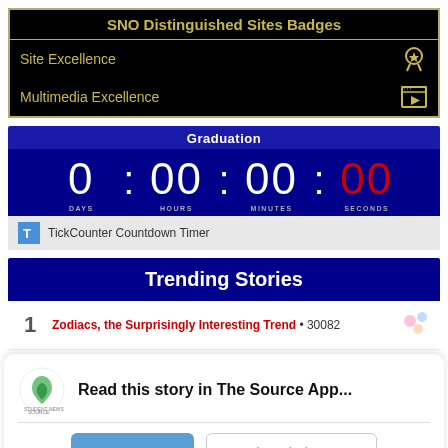SNO Distinguished Sites Badges
Site Excellence
Multimedia Excellence
[Figure (other): Graduation countdown timer showing 0 days, 00 hours, 00 minutes, 00 seconds with TickCounter Countdown Timer branding]
Trending Stories
Zodiacs, the Surprisingly Interesting Trend • 30082
Read this story in The Source App...
Open App   Continue in browser